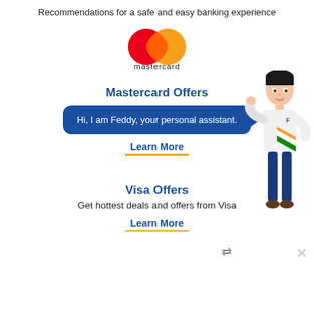Recommendations for a safe and easy banking experience
[Figure (logo): Mastercard logo — two overlapping circles (red and orange) with 'mastercard' text below]
Mastercard Offers
Hi, I am Feddy, your personal assistant.
Learn More
[Figure (illustration): Animated male character named Feddy wearing a white shirt with Indian flag colors, dark jeans and brown shoes, gesturing with right hand]
Visa Offers
Get hottest deals and offers from Visa
Learn More